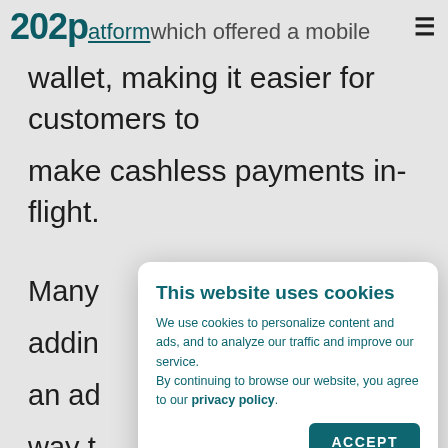202p | platform which offered a mobile ≡
wallet, making it easier for customers to make cashless payments in-flight.
Many
addin
an ad
way t
offer
[Figure (screenshot): Cookie consent modal popup with title 'This website uses cookies', body text about cookies and privacy policy, and an ACCEPT button.]